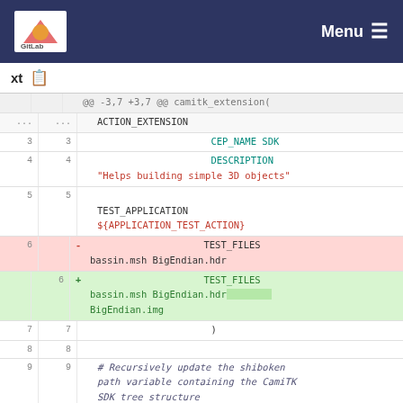Menu
xt
[Figure (screenshot): Code diff view showing changes to a CMake file (camitk_extension) with line numbers, hunk header, context lines, deleted line with TEST_FILES bassin.msh BigEndian.hdr, and added line with TEST_FILES bassin.msh BigEndian.hdr BigEndian.img, plus comment lines about recursively updating the shiboken path variable]